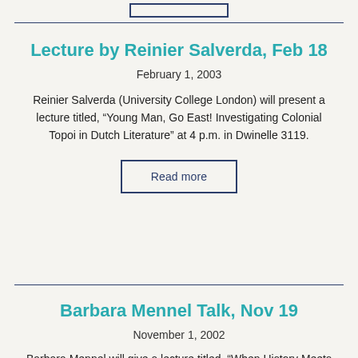[Figure (other): Partial button stub at top of page (cut off)]
Lecture by Reinier Salverda, Feb 18
February 1, 2003
Reinier Salverda (University College London) will present a lecture titled, “Young Man, Go East! Investigating Colonial Topoi in Dutch Literature” at 4 p.m. in Dwinelle 3119.
Read more
Barbara Mennel Talk, Nov 19
November 1, 2002
Barbara Mennel will give a lecture titled, “When History Meets